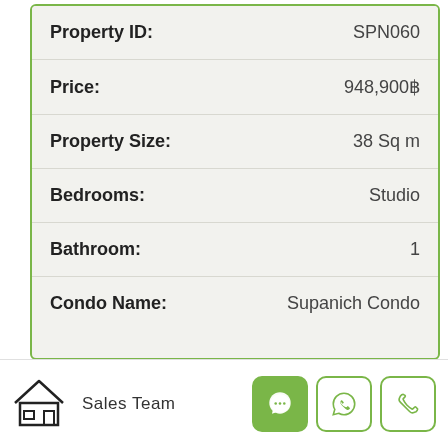| Field | Value |
| --- | --- |
| Property ID: | SPN060 |
| Price: | 948,900฿ |
| Property Size: | 38 Sq m |
| Bedrooms: | Studio |
| Bathroom: | 1 |
| Condo Name: | Supanich Condo |
Sales Team